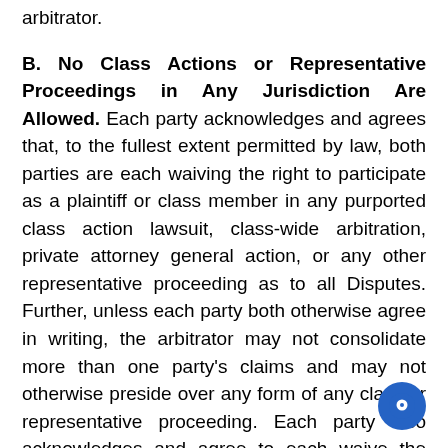arbitrator.
B. No Class Actions or Representative Proceedings in Any Jurisdiction Are Allowed. Each party acknowledges and agrees that, to the fullest extent permitted by law, both parties are each waiving the right to participate as a plaintiff or class member in any purported class action lawsuit, class-wide arbitration, private attorney general action, or any other representative proceeding as to all Disputes. Further, unless each party both otherwise agree in writing, the arbitrator may not consolidate more than one party’s claims and may not otherwise preside over any form of any class or representative proceeding. Each party also acknowledges and agree to each waive the right to a trial by jury as to all arbitrable Disputes.